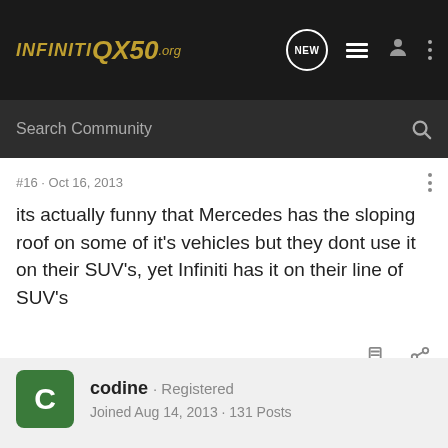INFINITI QX50.org — Navigation bar with NEW, list, user, and more icons
Search Community
#16 · Oct 16, 2013
its actually funny that Mercedes has the sloping roof on some of it's vehicles but they dont use it on their SUV's, yet Infiniti has it on their line of SUV's
codine · Registered
Joined Aug 14, 2013 · 131 Posts